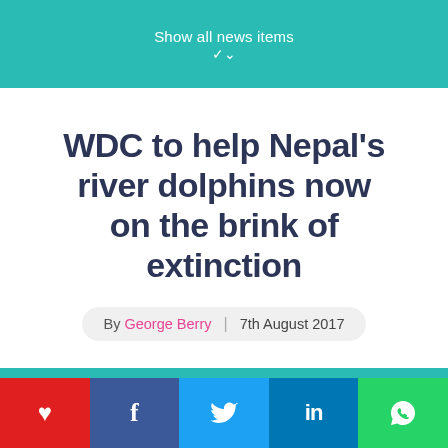Show all news items
WDC to help Nepal’s river dolphins now on the brink of extinction
By George Berry | 7th August 2017
♥ f 🐦 in 📱